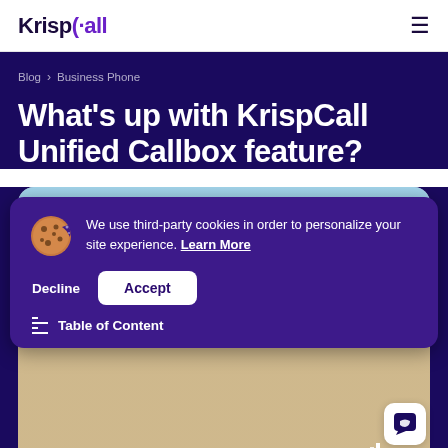KrispCall
Blog > Business Phone
What's up with KrispCall Unified Callbox feature?
[Figure (screenshot): Screenshot of KrispCall website with a cookie consent popup overlay showing a cookie icon, text about third-party cookies, Learn More link, Decline and Accept buttons, and a Table of Content bar. The background shows a road/landscape image.]